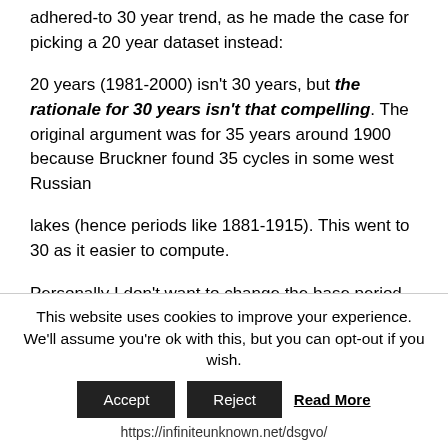adhered-to 30 year trend, as he made the case for picking a 20 year dataset instead:
20 years (1981-2000) isn't 30 years, but the rationale for 30 years isn't that compelling. The original argument was for 35 years around 1900 because Bruckner found 35 cycles in some west Russian
lakes (hence periods like 1881-1915). This went to 30 as it easier to compute.
Personally I don't want to change the base period till after I retire!
Cheers
Phil
Extraordinary! All this time the global warming believers
This website uses cookies to improve your experience. We'll assume you're ok with this, but you can opt-out if you wish.
Accept   Reject   Read More
https://infiniteunknown.net/dsgvo/